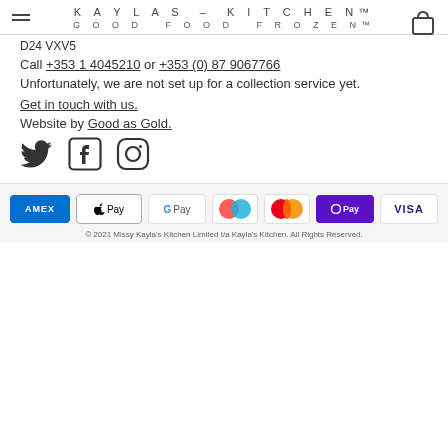KAYLAS – KITCHEN™ GOOD FOOD FROZEN™
D24 VXV5
Call +353 1 4045210 or +353 (0) 87 9067766
Unfortunately, we are not set up for a collection service yet.
Get in touch with us.
Website by Good as Gold.
[Figure (logo): Social media icons: Twitter bird, Facebook F, Instagram camera]
[Figure (infographic): Payment method logos: AMEX, Apple Pay, Google Pay, Mastercard circles, Mastercard, OPay, VISA]
© 2021 Missy Kayla's Kitchen Limited t/a Kayla's Kitchen. All Rights Reserved.